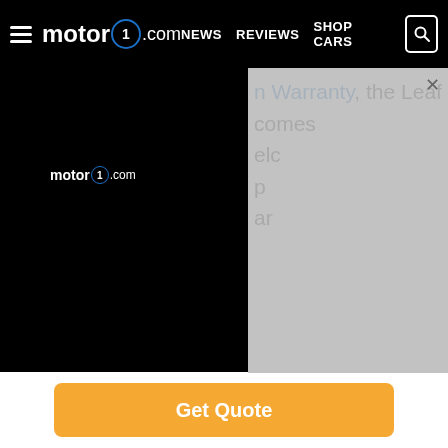motor1.com — NEWS  REVIEWS  SHOP CARS
[Figure (screenshot): Motor1.com website screenshot showing nav bar with logo, hamburger menu, NEWS, REVIEWS, SHOP CARS links and search button. Below the navbar is an ad overlay with the motor1.com logo on black background on the left, and a gray advertisement overlay on the right covering partial text about 'n Warranty, the Leaf comes'.]
Where Nissan’s factory warranty falls a bit short compared to some others is in roadside assistance, which runs 3 years/36,000 miles. Some mainstream brands, including Ford and Chevrolet, extend their roadside assistance to the same 5-years/60,000-miles as their powertrain warranties.
That’s not necessarily a reason to choose one brand over another, but it is something to put on your
[Figure (other): Orange 'Get Quote' button at the bottom of the page]